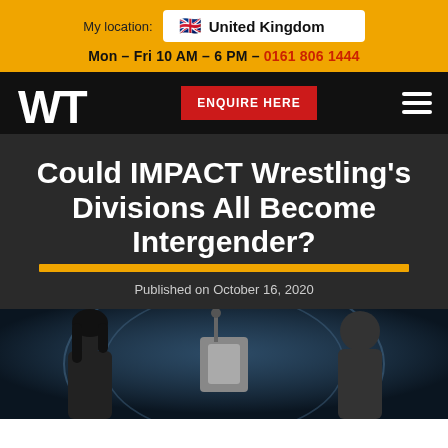My location: United Kingdom
Mon – Fri 10 AM – 6 PM – 0161 806 1444
[Figure (logo): WT logo in white on black navigation bar with ENQUIRE HERE red button and hamburger menu icon]
Could IMPACT Wrestling's Divisions All Become Intergender?
Published on October 16, 2020
[Figure (photo): Promotional photo showing a female wrestler on the left and a male wrestler on the right with a championship belt in the center, dark blue background with circular light effects]